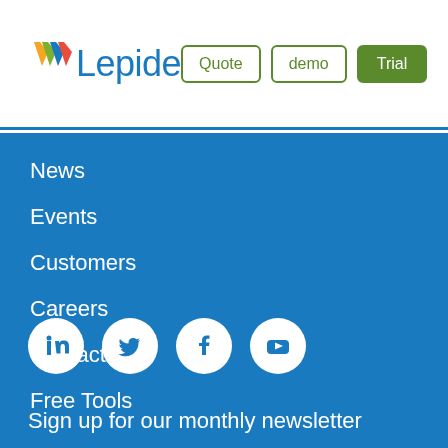[Figure (logo): Lepide company logo with multicolored chevron icon and blue text]
News
Events
Customers
Careers
Contact Us
Free Tools
[Figure (illustration): Social media icons: LinkedIn, Twitter, Facebook, YouTube — white circles on blue background]
Sign up for our monthly newsletter